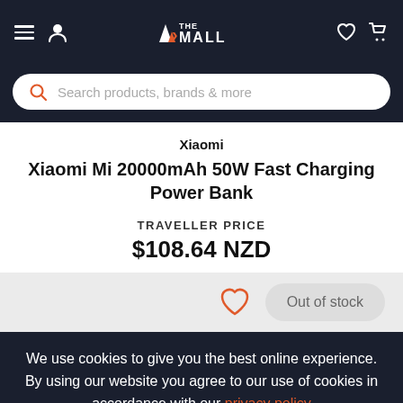A> THE MALL — navigation header with hamburger menu, user icon, logo, heart icon, and cart icon
Search products, brands & more
Xiaomi
Xiaomi Mi 20000mAh 50W Fast Charging Power Bank
TRAVELLER PRICE
$108.64 NZD
Out of stock
We use cookies to give you the best online experience. By using our website you agree to our use of cookies in accordance with our privacy policy
Continue